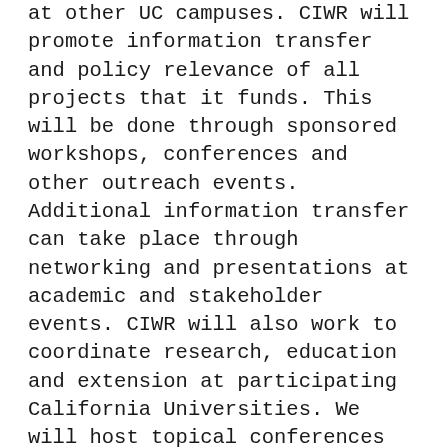at other UC campuses. CIWR will promote information transfer and policy relevance of all projects that it funds. This will be done through sponsored workshops, conferences and other outreach events. Additional information transfer can take place through networking and presentations at academic and stakeholder events. CIWR will also work to coordinate research, education and extension at participating California Universities. We will host topical conferences that bring together researchers and stakeholders. We will also seek to coordinate California's academic comunity. This will be done through a variety of yet to be determined means. We are interested in hosting a UC wide conference on water that will highlight activities across the UC System. We may also seek to provide information on University research through web-based